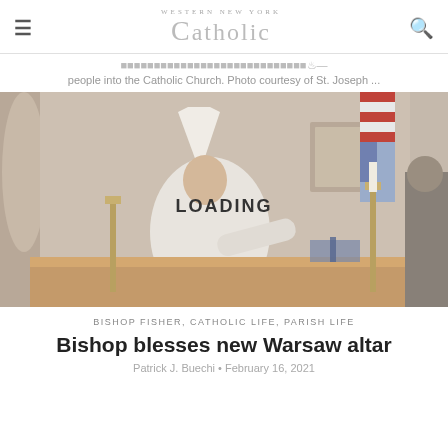Western New York Catholic
people into the Catholic Church. Photo courtesy of St. Joseph ...
[Figure (photo): Bishop in white vestments and mitre blessing or touching a wooden altar inside a church, with an American flag in the background. A 'LOADING' overlay text appears on the image.]
BISHOP FISHER, CATHOLIC LIFE, PARISH LIFE
Bishop blesses new Warsaw altar
Patrick J. Buechi • February 16, 2021